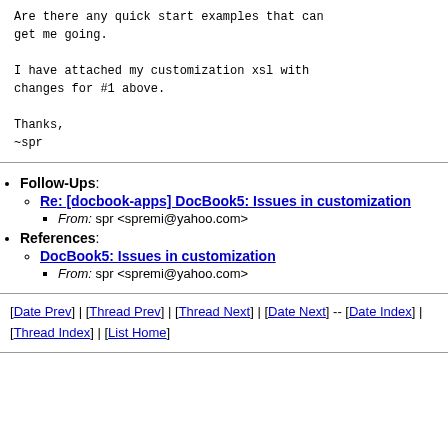Are there any quick start examples that can get me going.

I have attached my customization xsl with changes for #1 above.

Thanks,
~spr
Follow-Ups: Re: [docbook-apps] DocBook5: Issues in customization — From: spr <spremi@yahoo.com>
References: DocBook5: Issues in customization — From: spr <spremi@yahoo.com>
[Date Prev] | [Thread Prev] | [Thread Next] | [Date Next] -- [Date Index] | [Thread Index] | [List Home]